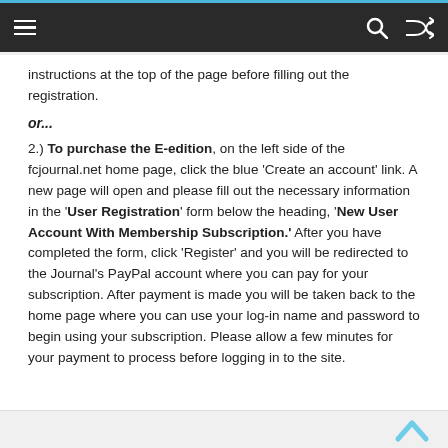Navigation bar with menu, search, and shuffle icons
instructions at the top of the page before filling out the registration.
or...
2.) To purchase the E-edition, on the left side of the fcjournal.net home page, click the blue ‘Create an account’ link. A new page will open and please fill out the necessary information in the ‘User Registration’ form below the heading, ‘New User Account With Membership Subscription.’ After you have completed the form, click ‘Register’ and you will be redirected to the Journal’s PayPal account where you can pay for your subscription. After payment is made you will be taken back to the home page where you can use your log-in name and password to begin using your subscription. Please allow a few minutes for your payment to process before logging in to the site.